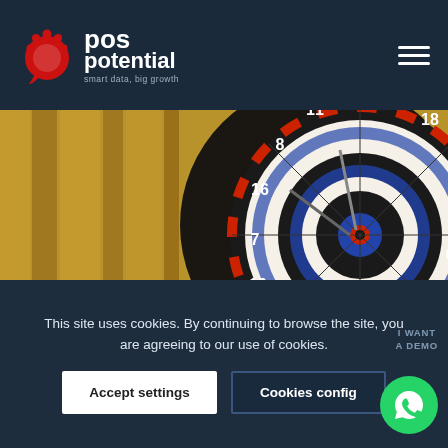[Figure (logo): POS Potential logo with red circular chat bubble icon and white text reading 'pos potential' with tagline 'smart data, big growth']
[Figure (photo): Photo of an electronic dartboard (Viper brand) mounted on a wooden wall, showing numbered sections 1-20, with darts in the bullseye area]
This site uses cookies. By continuing to browse the site, you are agreeing to our use of cookies.
Accept settings
Cookies config
I WANT
A DEMO